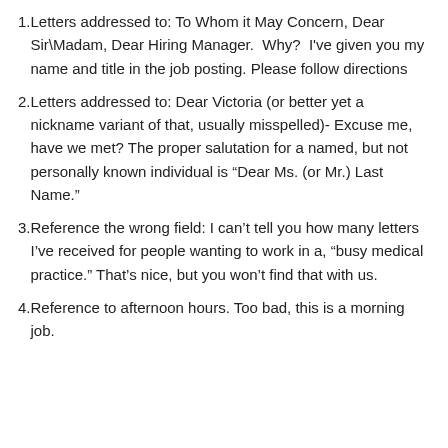Letters addressed to: To Whom it May Concern, Dear Sir\Madam, Dear Hiring Manager.  Why?  I've given you my name and title in the job posting. Please follow directions
Letters addressed to: Dear Victoria (or better yet a nickname variant of that, usually misspelled)- Excuse me, have we met? The proper salutation for a named, but not personally known individual is “Dear Ms. (or Mr.) Last Name.”
Reference the wrong field: I can’t tell you how many letters I’ve received for people wanting to work in a, “busy medical practice.” That’s nice, but you won’t find that with us.
Reference to afternoon hours. Too bad, this is a morning job.